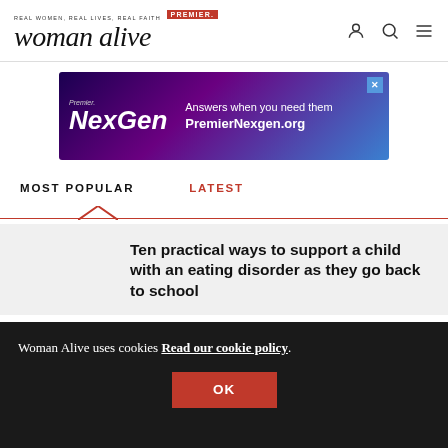REAL WOMEN, REAL LIVES, REAL FAITH — Premier — woman alive
[Figure (screenshot): Premier NexGen advertisement banner: 'Answers when you need them PremierNexgen.org']
MOST POPULAR
LATEST
Ten practical ways to support a child with an eating disorder as they go back to school
Woman Alive uses cookies Read our cookie policy.
OK